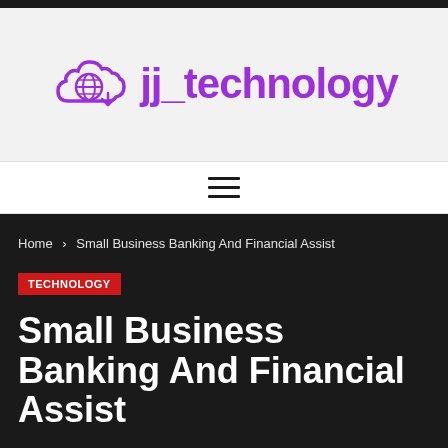[Figure (logo): jj_technology logo with purple cloud and globe icon and purple bold text 'jj_technology']
Home > Small Business Banking And Financial Assist
TECHNOLOGY
Small Business Banking And Financial Assist